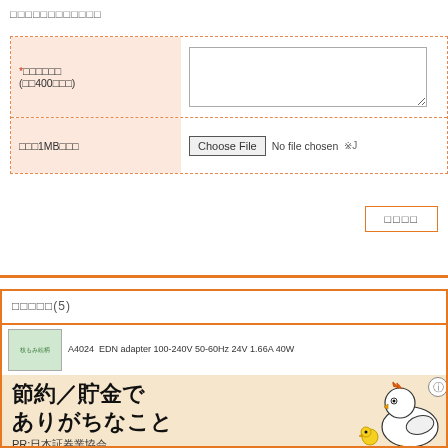□□□□□□□□□□□□
| Label | Value |
| --- | --- |
| *□□□□□□
(□□400□□□) |  |
| □□□1MB□□□ | Choose File  No file chosen  ※J |
□□□□
□□□□□(5)
A4024  EDN adapter 100-240V 50-60Hz 24V 1.66A 40W
[Figure (illustration): Japanese advertisement banner with text '節約／貯金でありがちなこと' and a cartoon chicken character. Sub-text: PR:日本証券業協会]